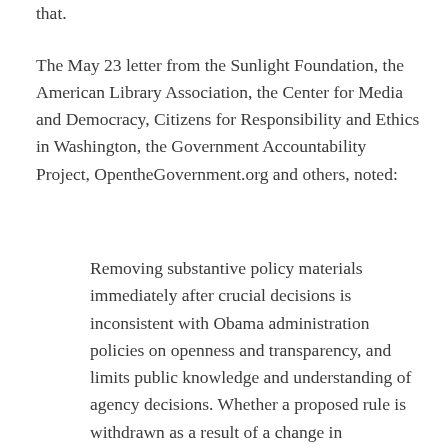that.
The May 23 letter from the Sunlight Foundation, the American Library Association, the Center for Media and Democracy, Citizens for Responsibility and Ethics in Washington, the Government Accountability Project, OpentheGovernment.org and others, noted:
Removing substantive policy materials immediately after crucial decisions is inconsistent with Obama administration policies on openness and transparency, and limits public knowledge and understanding of agency decisions. Whether a proposed rule is withdrawn as a result of a change in administration policy, political considerations, or failure to reach an agreement on the rules scope, explanatory materials provide context for the decision and may help future debate and